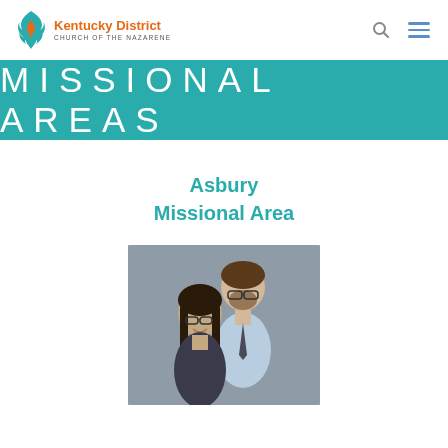Kentucky District Church of the Nazarene
MISSIONAL AREAS
Asbury Missional Area
[Figure (photo): Photo of a couple, man and woman, smiling, against a gray background]